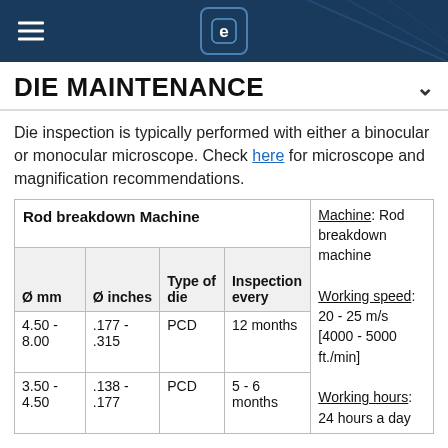DIE MAINTENANCE
DIE MAINTENANCE
Die inspection is typically performed with either a binocular or monocular microscope. Check here for microscope and magnification recommendations.
| Ø mm | Ø inches | Type of die | Inspection every |  |
| --- | --- | --- | --- | --- |
| Rod breakdown Machine |  |  |  | Machine: Rod breakdown machine
Working speed: 20 - 25 m/s [4000 - 5000 ft./min]
Working hours: 24 hours a day |
| 4.50 - 8.00 | .177 - .315 | PCD | 12 months |  |
| 3.50 - 4.50 | .138 - .177 | PCD | 5 - 6 months |  |